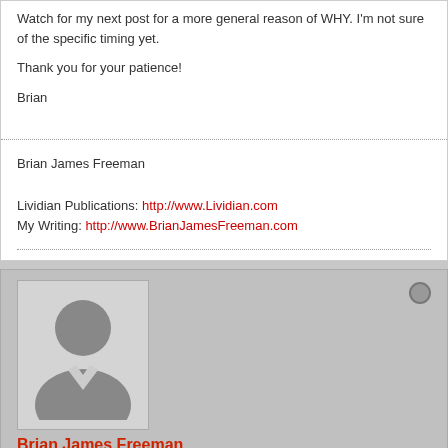Watch for my next post for a more general reason of WHY. I'm not sure of the specific timing yet.
Thank you for your patience!
Brian
Brian James Freeman
Lividian Publications: http://www.Lividian.com
My Writing: http://www.BrianJamesFreeman.com
[Figure (photo): Default avatar silhouette of a male user]
Brian James Freeman
Administrator
Ok, I really can't come up with anymore of these stupid things...
Join Date: Apr 2011    Posts: 1002883
05-02-2019, 05:02 PM    #680
Now that Sleeping Beauties is done, we can share something that was